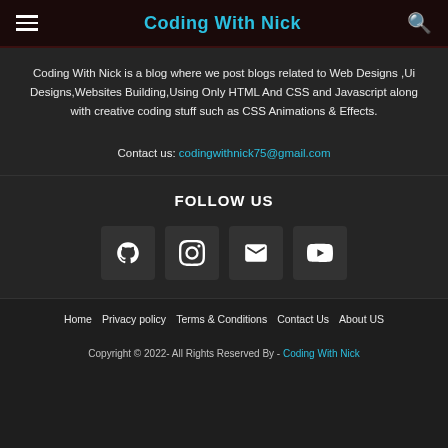Coding With Nick
Coding With Nick is a blog where we post blogs related to Web Designs ,Ui Designs,Websites Building,Using Only HTML And CSS and Javascript along with creative coding stuff such as CSS Animations & Effects.
Contact us: codingwithnick75@gmail.com
FOLLOW US
[Figure (infographic): Four social media icon buttons in dark rounded squares: GitHub, Instagram, Email, YouTube]
Home  Privacy policy  Terms & Conditions  Contact Us  About US
Copyright © 2022- All Rights Reserved By - Coding With Nick